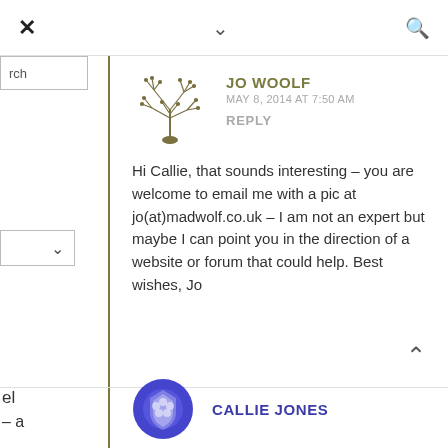× ∨ 🔍
rch
∨
el
– a
JO WOOLF
MAY 8, 2014 AT 7:50 AM
REPLY
Hi Callie, that sounds interesting – you are welcome to email me with a pic at jo(at)madwolf.co.uk – I am not an expert but maybe I can point you in the direction of a website or forum that could help. Best wishes, Jo
CALLIE JONES